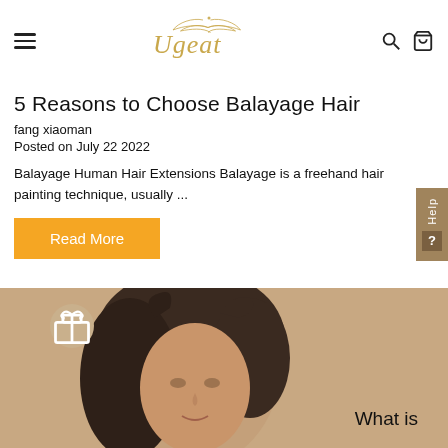Ugeat
5 Reasons to Choose Balayage Hair
fang xiaoman
Posted on July 22 2022
Balayage Human Hair Extensions Balayage is a freehand hair painting technique, usually ...
Read More
[Figure (photo): A woman with brunette balayage hair styled in an updo, posed against a warm beige background, with text overlay 'What is']